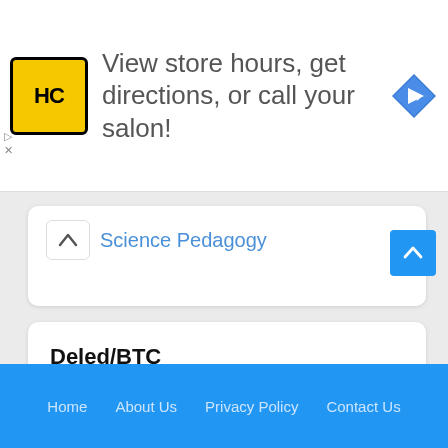[Figure (screenshot): Advertisement banner: HC logo (yellow/black), text 'View store hours, get directions, or call your salon!', blue diamond arrow icon]
Science Pedagogy
Deled/BTC
Deled 1st sem  Exam Paper
Deled 2nd sem Exam Paper
Deled 3rd sem  Exam Paper
Deled 4th sem  Exam Paper
Home   About Us   Privacy Policy   Contact Us